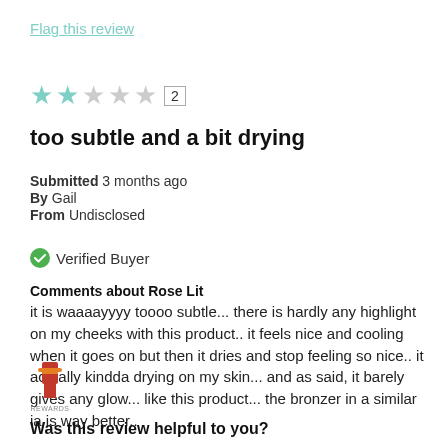Flag this review
[Figure (other): 2-star rating with stars (2 filled, 3 empty) and count box showing '2']
too subtle and a bit drying
Submitted 3 months ago
By Gail
From Undisclosed
Verified Buyer
Comments about Rose Lit
it is waaaayyyy toooo subtle... there is hardly any highlight on my cheeks with this product.. it feels nice and cooling when it goes on but then it dries and stop feeling so nice.. it actually kindda drying on my skin... and as said, it barely gives any glow... like this product... the bronzer in a similar ia is way better..
Was this review helpful to you?